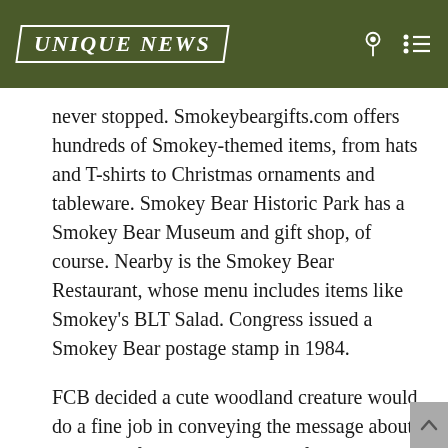UNIQUE NEWS
never stopped. Smokeybeargifts.com offers hundreds of Smokey-themed items, from hats and T-shirts to Christmas ornaments and tableware. Smokey Bear Historic Park has a Smokey Bear Museum and gift shop, of course. Nearby is the Smokey Bear Restaurant, whose menu includes items like Smokey's BLT Salad. Congress issued a Smokey Bear postage stamp in 1984.
FCB decided a cute woodland creature would do a fine job in conveying the message about being careful with matches. At first, the agency co-opted Bambi, putting the famous Disney fawn on posters captioned with: “Please Mister, Don’t Be Ca…”